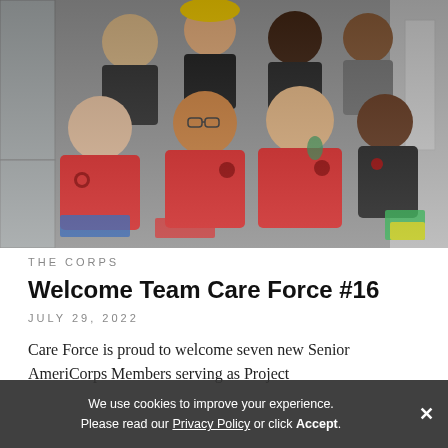[Figure (photo): Group photo of seven young people in red AmeriCorps jackets sitting and standing together indoors, smiling at the camera.]
THE CORPS
Welcome Team Care Force #16
JULY 29, 2022
Care Force is proud to welcome seven new Senior AmeriCorps Members serving as Project
We use cookies to improve your experience. Please read our Privacy Policy or click Accept.